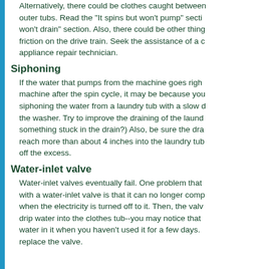Alternatively, there could be clothes caught between outer tubs. Read the "It spins but won't pump" section won't drain" section. Also, there could be other things friction on the drive train. Seek the assistance of a appliance repair technician.
Siphoning
If the water that pumps from the machine goes right machine after the spin cycle, it may be because you siphoning the water from a laundry tub with a slow the washer. Try to improve the draining of the laundry something stuck in the drain?) Also, be sure the dra reach more than about 4 inches into the laundry tub off the excess.
Water-inlet valve
Water-inlet valves eventually fail. One problem that with a water-inlet valve is that it can no longer comp when the electricity is turned off to it. Then, the valve drip water into the clothes tub--you may notice that water in it when you haven't used it for a few days. replace the valve.